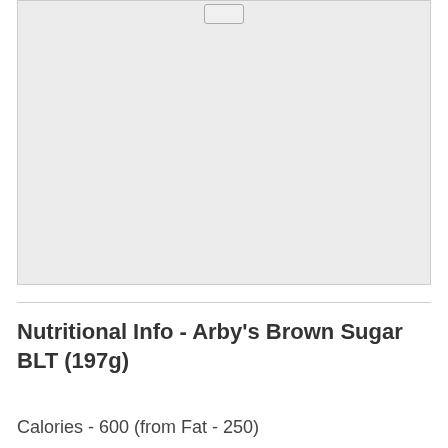[Figure (photo): Large light gray placeholder image area with a small button/tag element at the top center]
Nutritional Info - Arby's Brown Sugar BLT (197g)
Calories - 600 (from Fat - 250)